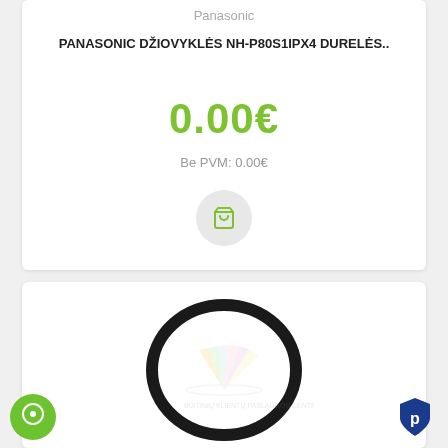Panasonic
PANASONIC DŽIOVYKLĖS NH-P80S1IPX4 DURELĖS..
0.00€
Be PVM: 0.00€
[Figure (photo): A black rubber O-ring/gasket on white background with a faint watermark logo in the center]
[Figure (logo): Green circle chat/support button icon]
[Figure (logo): Blue shield icon with letter P]